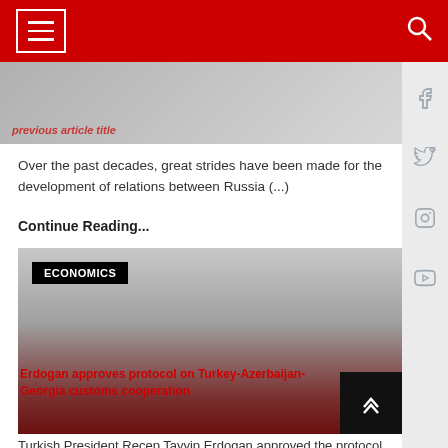Navigation bar with hamburger menu and search icon
[Figure (screenshot): Previous article image with red title overlay partially visible]
Over the past decades, great strides have been made for the development of relations between Russia (...)
Continue Reading...
[Figure (photo): Article card for economics article about Erdogan approving protocol on Turkey-Azerbaijan-Georgia customs cooperation, with ECONOMICS badge and gradient background]
Erdogan approves protocol on Turkey-Azerbaijan-Georgia customs cooperation
Turkish President Recep Tayyip Erdogan approved the protocol "On the establishment of a rail (...)